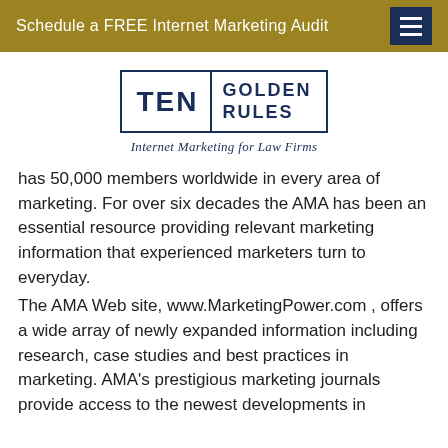Schedule a FREE Internet Marketing Audit
[Figure (logo): Ten Golden Rules logo with text 'Internet Marketing for Law Firms']
has 50,000 members worldwide in every area of marketing. For over six decades the AMA has been an essential resource providing relevant marketing information that experienced marketers turn to everyday.
The AMA Web site, www.MarketingPower.com , offers a wide array of newly expanded information including research, case studies and best practices in marketing. AMA's prestigious marketing journals provide access to the newest developments in